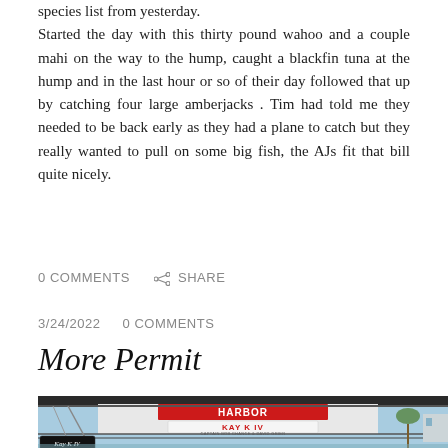species list from yesterday. Started the day with this thirty pound wahoo and a couple mahi on the way to the hump, caught a blackfin tuna at the hump and in the last hour or so of their day followed that up by catching four large amberjacks . Tim had told me they needed to be back early as they had a plane to catch but they really wanted to pull on some big fish, the AJs fit that bill quite nicely.
0 COMMENTS   SHARE
3/24/2022   0 COMMENTS
More Permit
[Figure (photo): Photo of a harbor scene with a boat named 'Kay K IV' and a sign reading 'HARBOR KAY K IV', boats and palm trees visible in background under blue sky.]